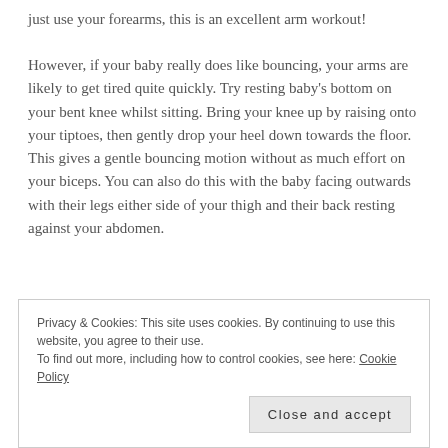just use your forearms, this is an excellent arm workout!
However, if your baby really does like bouncing, your arms are likely to get tired quite quickly. Try resting baby's bottom on your bent knee whilst sitting. Bring your knee up by raising onto your tiptoes, then gently drop your heel down towards the floor. This gives a gentle bouncing motion without as much effort on your biceps. You can also do this with the baby facing outwards with their legs either side of your thigh and their back resting against your abdomen.
[Figure (photo): Partial black and white photograph, appears to show a baby or infant, cropped at bottom of visible area]
Privacy & Cookies: This site uses cookies. By continuing to use this website, you agree to their use. To find out more, including how to control cookies, see here: Cookie Policy
Close and accept